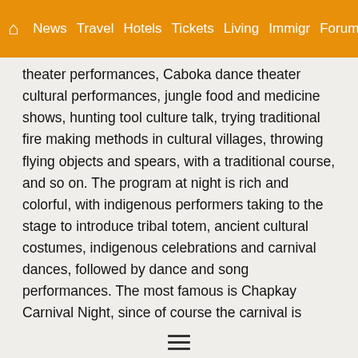Home | News | Travel | Hotels | Tickets | Living | Immigr | Forum
theater performances, Caboka dance theater cultural performances, jungle food and medicine shows, hunting tool culture talk, trying traditional fire making methods in cultural villages, throwing flying objects and spears, with a traditional course, and so on. The program at night is rich and colorful, with indigenous performers taking to the stage to introduce tribal totem, ancient cultural costumes, indigenous celebrations and carnival dances, followed by dance and song performances. The most famous is Chapkay Carnival Night, since of course the carnival is accompanied by beauty, wine and food, as well as musical instrument performances, singing, dancing, etc., as well as ritual ceremonies similar to those used to exorcise evil spirits. People can enjoy brilliant performances while tasting international buffet dinners and Australian wines. There are no cultural or linguistic barriers at Tjapukai Aboriginal Cultural Park, only a strong atmosphere of entertainment and deep cross-border friendship. Most of the tourists here are
≡